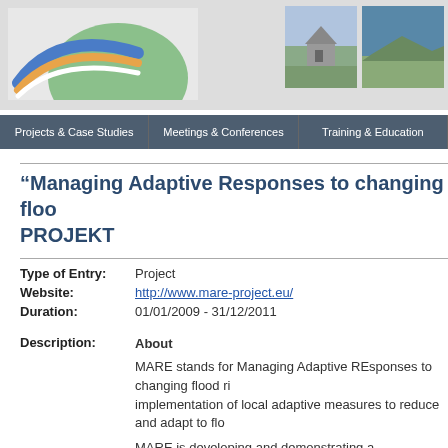Header banner with logo and photos
[Figure (logo): MARE project logo with blue and orange wave lines and green circle]
[Figure (photo): Photo of a house on a hillside]
[Figure (photo): Aerial photo of a coastal area]
Projects & Case Studies | Meetings & Conferences | Training & Education
"Managing Adaptive Responses to changing floo... PROJEKT
Type of Entry: Project
Website: http://www.mare-project.eu/
Duration: 01/01/2009 - 31/12/2011
Description: About
MARE stands for Managing Adaptive REsponses to changing flood ri... implementation of local adaptive measures to reduce and adapt to flo...

MARE is developing and demonstrating a transnational approach to le...

Learning & Action Alliances